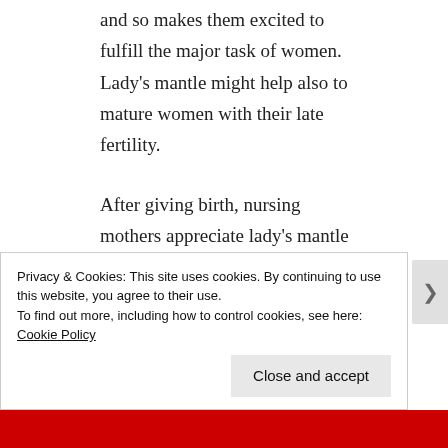and so makes them excited to fulfill the major task of women. Lady's mantle might help also to mature women with their late fertility.

After giving birth, nursing mothers appreciate lady's mantle too. It supports lactation and improves quality of milk. Again,
Privacy & Cookies: This site uses cookies. By continuing to use this website, you agree to their use.
To find out more, including how to control cookies, see here: Cookie Policy
Close and accept